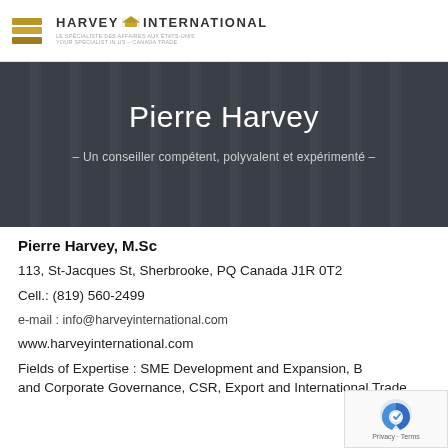Harvey International — Le spécialiste des affaires aux États-Unis / Your specialist in US – Canada Trade
[Figure (logo): Harvey International logo with hamburger menu icon and golden bars]
Pierre Harvey
– Un conseiller compétent, polyvalent et expérimenté –
Pierre Harvey, M.Sc
113, St-Jacques St, Sherbrooke, PQ Canada J1R 0T2
Cell.: (819) 560-2499
e-mail : info@harveyinternational.com
www.harveyinternational.com
Fields of Expertise : SME Development and Expansion, B... and Corporate Governance, CSR, Export and International Trade